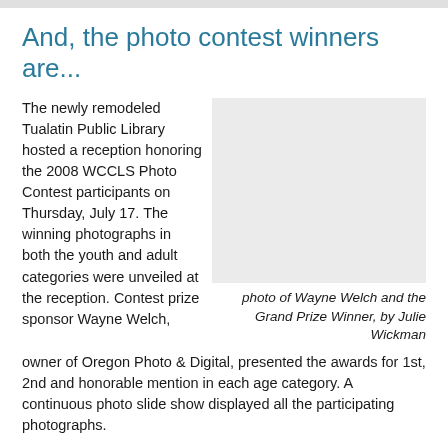And, the photo contest winners are...
The newly remodeled Tualatin Public Library hosted a reception honoring the 2008 WCCLS Photo Contest participants on Thursday, July 17. The winning photographs in both the youth and adult categories were unveiled at the reception. Contest prize sponsor Wayne Welch, owner of Oregon Photo & Digital, presented the awards for 1st, 2nd and honorable mention in each age category. A continuous photo slide show displayed all the participating photographs.
[Figure (photo): Placeholder photo box representing a photo of Wayne Welch and the Grand Prize Winner]
photo of Wayne Welch and the Grand Prize Winner, by Julie Wickman